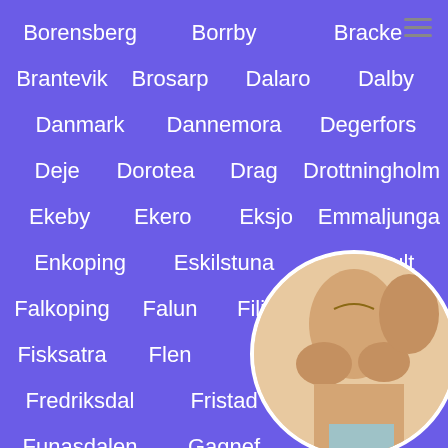Borensberg   Borrby   Bracke
Brantevik   Brosarp   Dalaro   Dalby
Danmark   Dannemora   Degerfors
Deje   Dorotea   Drag   Drottningholm
Ekeby   Ekero   Eksjo   Emmaljunga
Enkoping   Eskilstuna   Fagerhult
Falkoping   Falun   Filipstad   Finja
Fisksatra   Flen   Flisby   F...
Fredriksdal   Fristad
Funasdalen   Gagnef   Gal...
[Figure (photo): Circular cropped photo of a woman's torso, partially nude, positioned in bottom-right corner]